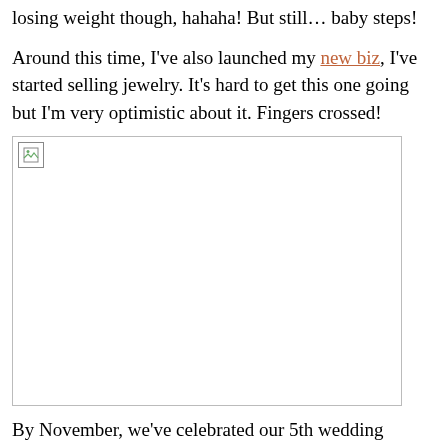losing weight though, hahaha! But still… baby steps!
Around this time, I've also launched my new biz, I've started selling jewelry. It's hard to get this one going but I'm very optimistic about it. Fingers crossed!
[Figure (photo): Broken/unloaded image placeholder with a small image icon in the top-left corner, inside a rectangular bordered box.]
By November, we've celebrated our 5th wedding anniversary! We went to the Hilton to celebrate this milestone and gifted each other with pieces of jewelry to commemorate the event. The hubs got me